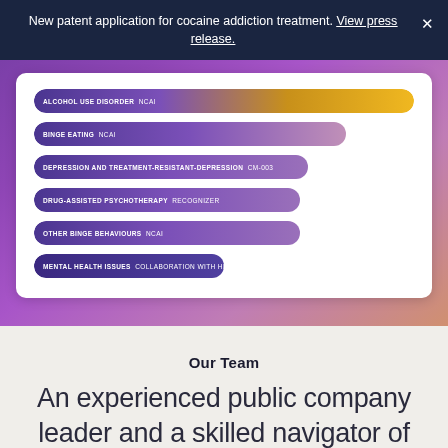New patent application for cocaine addiction treatment. View press release.
[Figure (bar-chart): Pipeline indications]
Our Team
An experienced public company leader and a skilled navigator of